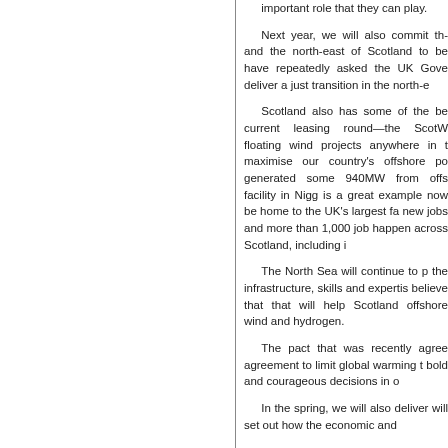important role that they can play.

Next year, we will also commit the and the north-east of Scotland to be have repeatedly asked the UK Gove deliver a just transition in the north-e

Scotland also has some of the be current leasing round—the ScotW floating wind projects anywhere in t maximise our country's offshore po generated some 940MW from offs facility in Nigg is a great example now be home to the UK's largest fa new jobs and more than 1,000 job happen across Scotland, including i

The North Sea will continue to p the infrastructure, skills and expertis believe that that will help Scotland offshore wind and hydrogen.

The pact that was recently agree agreement to limit global warming t bold and courageous decisions in o

In the spring, we will also deliver will set out how the economic and